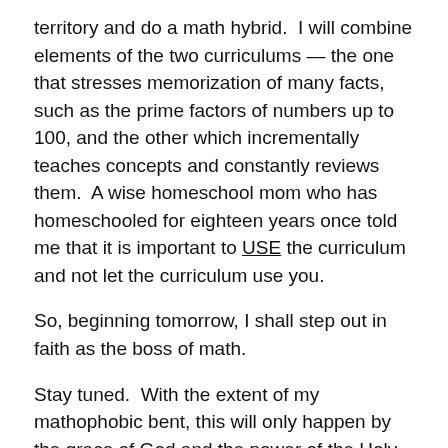territory and do a math hybrid.  I will combine elements of the two curriculums — the one that stresses memorization of many facts, such as the prime factors of numbers up to 100, and the other which incrementally teaches concepts and constantly reviews them.  A wise homeschool mom who has homeschooled for eighteen years once told me that it is important to USE the curriculum and not let the curriculum use you.
So, beginning tomorrow, I shall step out in faith as the boss of math.
Stay tuned.  With the extent of my mathophobic bent, this will only happen by the grace of God and the power of the Holy Spirit giving me more inspiration than perspiration.